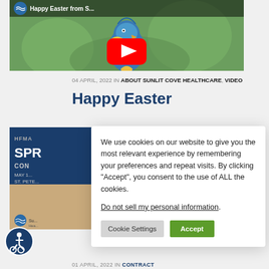[Figure (screenshot): YouTube video thumbnail showing a parrot with Easter theme. Title reads 'Happy Easter from S...' with YouTube play button overlay.]
04 APRIL, 2022 IN ABOUT SUNLIT COVE HEALTHCARE, VIDEO
Happy Easter
[Figure (photo): Partially visible HFMA Spring Conference promotional card showing 'HFMA', 'SPR...', 'CON...', 'MAY 1...', 'ST. PETE...' with Sunlit Healthcare logo]
We use cookies on our website to give you the most relevant experience by remembering your preferences and repeat visits. By clicking “Accept”, you consent to the use of ALL the cookies.

Do not sell my personal information.
Cookie Settings  Accept